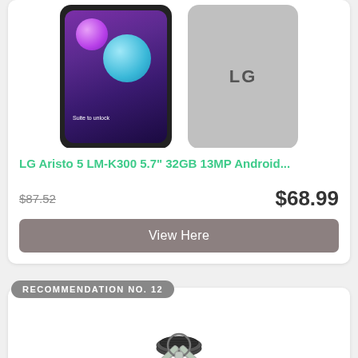[Figure (photo): Two LG Aristo 5 smartphones shown from front and back]
LG Aristo 5 LM-K300 5.7" 32GB 13MP Android...
$87.52
$68.99
View Here
RECOMMENDATION NO. 12
[Figure (photo): Portable camping stove/burner with foldable arms, silver metal, top-down view]